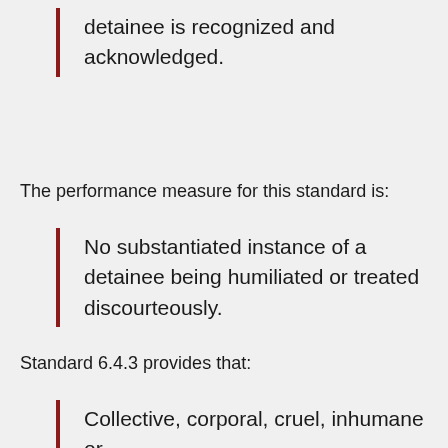detainee is recognized and acknowledged.
The performance measure for this standard is:
No substantiated instance of a detainee being humiliated or treated discourteously.
Standard 6.4.3 provides that:
Collective, corporal, cruel, inhumane or